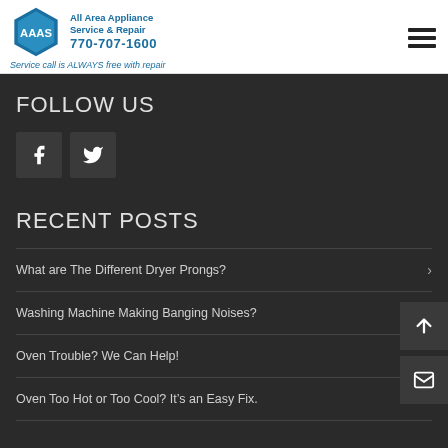[Figure (logo): AAAS All Area Appliance Service & Repair hexagon logo with phone number 770-707-1600 and tagline 'Service call is ALWAYS free with repair']
FOLLOW US
[Figure (infographic): Facebook and Twitter social media icon buttons]
RECENT POSTS
What are The Different Dryer Prongs?
Washing Machine Making Banging Noises?
Oven Trouble? We Can Help!
Oven Too Hot or Too Cool? It's an Easy Fix.